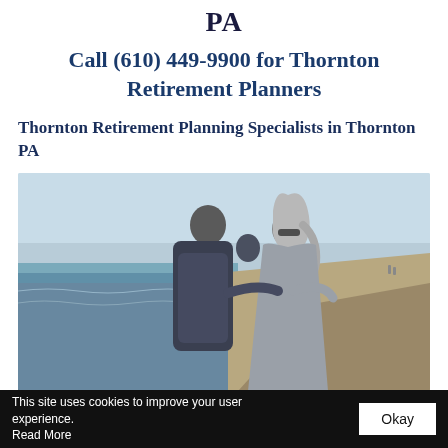PA
Call (610) 449-9900 for Thornton Retirement Planners
Thornton Retirement Planning Specialists in Thornton PA
[Figure (photo): An older couple standing on a beach, arms around each other, looking at each other. The man is on the left wearing a dark patterned jacket; the woman on the right has long grey hair and wears a grey wrap. The beach has sand and rocks on the right, and the ocean is visible on the left under a pale sky.]
This site uses cookies to improve your user experience. Read More
Okay